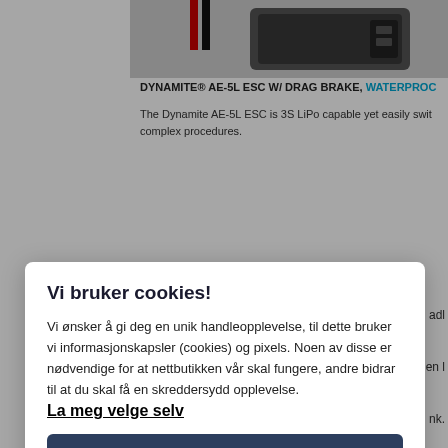[Figure (photo): Product photo of Dynamite AE-5L ESC waterproof electronic speed controller, partially visible at top of page]
DYNAMITE® AE-5L ESC W/ DRAG BRAKE, WATERPROC
The Dynamite AE-5L ESC is 3S LiPo capable yet easily swit complex procedures.
Vi bruker cookies!
Vi ønsker å gi deg en unik handleopplevelse, til dette bruker vi informasjonskapsler (cookies) og pixels. Noen av disse er nødvendige for at nettbutikken vår skal fungere, andre bidrar til at du skal få en skreddersydd opplevelse.
La meg velge selv
Godta alle
Godta kun nødvendige